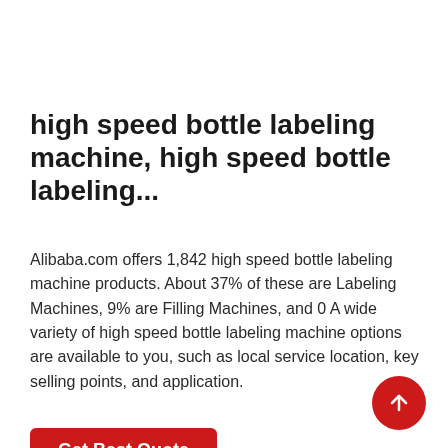high speed bottle labeling machine, high speed bottle labeling...
Alibaba.com offers 1,842 high speed bottle labeling machine products. About 37% of these are Labeling Machines, 9% are Filling Machines, and 0 A wide variety of high speed bottle labeling machine options are available to you, such as local service location, key selling points, and application.
[Figure (other): Red 'Get Best Quote' button]
[Figure (other): Red circular scroll-to-top button with upward arrow icon in bottom right corner]